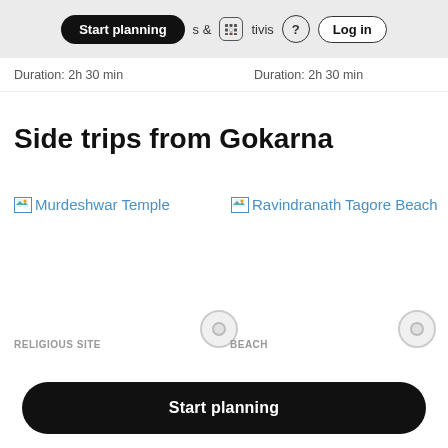Start planning  & Activities  ? Log in
Duration: 2h 30 min    Duration: 2h 30 min
Side trips from Gokarna
[Figure (screenshot): Broken image placeholder for Murdeshwar Temple link]
Murdeshwar Temple
[Figure (screenshot): Broken image placeholder for Ravindranath Tagore Beach link]
Ravindranath Tagore Beach
RELIGIOUS SITE    BEACH
Start planning